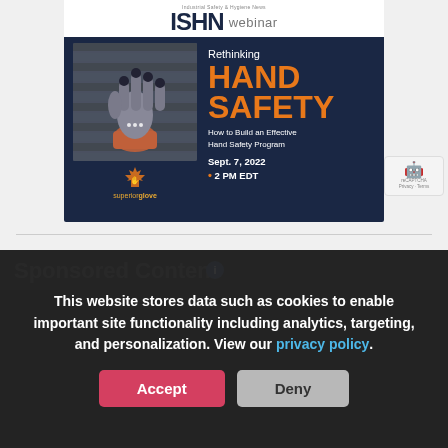[Figure (infographic): ISHN webinar promotional banner for 'Rethinking HAND SAFETY - How to Build an Effective Hand Safety Program' on Sept. 7, 2022 at 2 PM EDT, sponsored by Superior Glove. Dark navy background with image of safety glove on left and text on right.]
Sponsored Content
This website stores data such as cookies to enable important site functionality including analytics, targeting, and personalization. View our privacy policy.
Accept
Deny